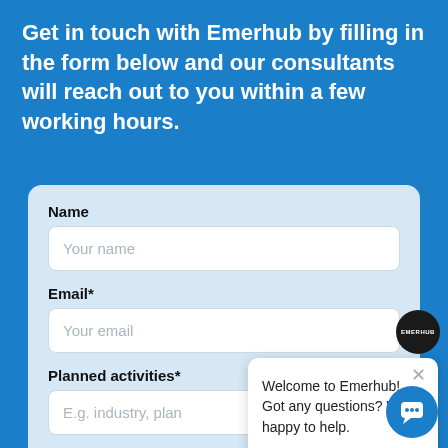Get in touch with Emerhub by filling in the form below and our consultants will reach out to you within a few working hours.
Name
Your name
Email*
Your email
Planned activities*
E.g. industry, plan
Do you have additional questions or information?
Optional. The more information you provide the more detailed response our consultant will be able to give you.
[Figure (screenshot): Emerhub chat popup with logo and message: 'Welcome to Emerhub! Got any questions? We're happy to help.']